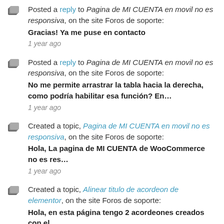Posted a reply to Pagina de MI CUENTA en movil no es responsiva, on the site Foros de soporte: Gracias! Ya me puse en contacto — 1 year ago
Posted a reply to Pagina de MI CUENTA en movil no es responsiva, on the site Foros de soporte: No me permite arrastrar la tabla hacia la derecha, como podría habilitar esa función? En… — 1 year ago
Created a topic, Pagina de MI CUENTA en movil no es responsiva, on the site Foros de soporte: Hola, La pagina de MI CUENTA de WooCommerce no es res… — 1 year ago
Created a topic, Alinear titulo de acordeon de elementor, on the site Foros de soporte: Hola, en esta página tengo 2 acordeones creados con el… — 1 year ago
Created a topic, Error 404 essential grid plugin, on the site